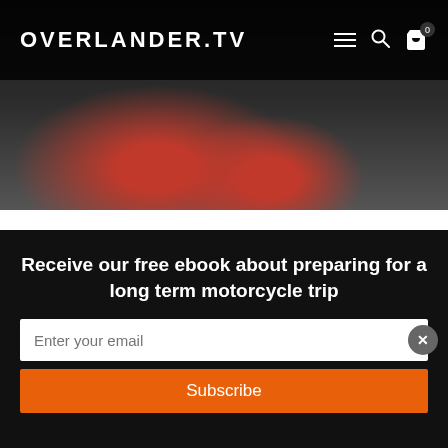OVERLANDER.TV
[Figure (photo): Dark photo of people, partially visible, with red jacket/clothing visible; serves as hero image for the article]
WELLINGTON, NEW ZEALAND TRAVEL VIDEO GUIDE
BY MARK SHEA | APRIL 11, 2011 | 1 COMMENT | NEW ZEALAND - MEET A LOCAL
After meeting another filmmaker, I decided to throw away the
Receive our free ebook about preparing for a long term motorcycle trip
Enter your email
Subscribe